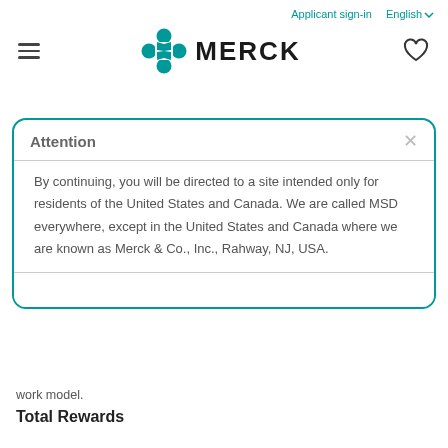Applicant sign-in   English
[Figure (logo): Merck logo with teal hourglass/cross icon and bold MERCK wordmark]
Attention
By continuing, you will be directed to a site intended only for residents of the United States and Canada. We are called MSD everywhere, except in the United States and Canada where we are known as Merck & Co., Inc., Rahway, NJ, USA.
work model.
Total Rewards